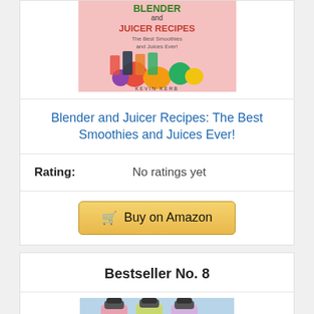[Figure (photo): Book cover of 'Blender and Juicer Recipes: The Best Smoothies and Juices Ever!' by Kevin Kerr, showing colorful fruits and juice glasses]
Blender and Juicer Recipes: The Best Smoothies and Juices Ever!
Rating: No ratings yet
Buy on Amazon
Bestseller No. 8
[Figure (photo): Photo of juice/smoothie bottles on ice]